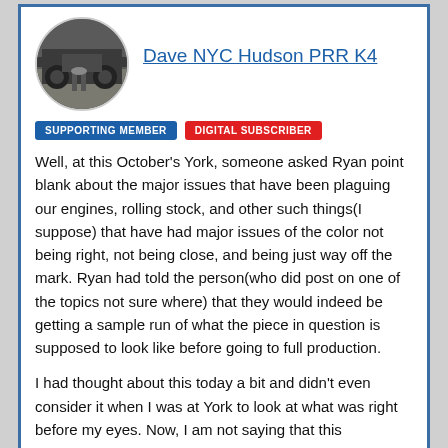Dave NYC Hudson PRR K4
[Figure (photo): Circular avatar photo of a person standing near a large steam locomotive]
SUPPORTING MEMBER   DIGITAL SUBSCRIBER
Well, at this October's York, someone asked Ryan point blank about the major issues that have been plaguing our engines, rolling stock, and other such things(I suppose) that have had major issues of the color not being right, not being close, and being just way off the mark. Ryan had told the person(who did post on one of the topics not sure where) that they would indeed be getting a sample run of what the piece in question is supposed to look like before going to full production.
I had thought about this today a bit and didn't even consider it when I was at York to look at what was right before my eyes. Now, I am not saying that this